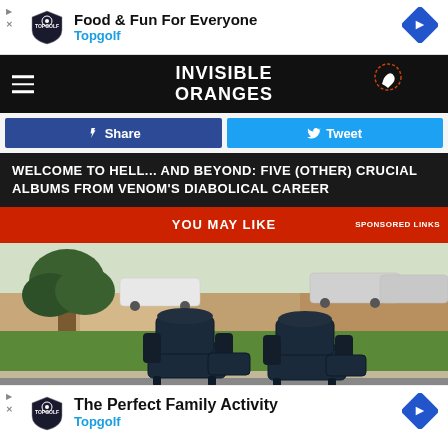[Figure (other): Topgolf advertisement banner: 'Food & Fun For Everyone' with Topgolf logo and navigation arrow icon]
[Figure (logo): Invisible Oranges website logo on black background with hamburger menu icon]
Share
Tweet
WELCOME TO HELL... AND BEYOND: FIVE (OTHER) CRUCIAL ALBUMS FROM VENOM'S DIABOLICAL CAREER
YOU MAY LIKE  SPONSORED LINKS
[Figure (photo): Two dark navy/black leather recliner chairs placed on a front lawn next to a large tree, with parked cars and houses visible in the background]
[Figure (other): Topgolf advertisement banner: 'The Perfect Family Activity' with Topgolf logo and navigation arrow icon]